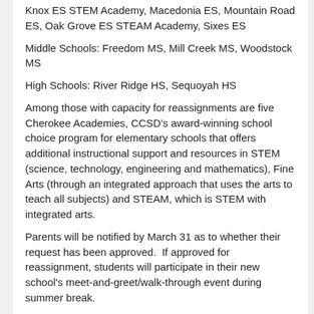Knox ES STEM Academy, Macedonia ES, Mountain Road ES, Oak Grove ES STEAM Academy, Sixes ES
Middle Schools: Freedom MS, Mill Creek MS, Woodstock MS
High Schools: River Ridge HS, Sequoyah HS
Among those with capacity for reassignments are five Cherokee Academies, CCSD’s award-winning school choice program for elementary schools that offers additional instructional support and resources in STEM (science, technology, engineering and mathematics), Fine Arts (through an integrated approach that uses the arts to teach all subjects) and STEAM, which is STEM with integrated arts.
Parents will be notified by March 31 as to whether their request has been approved.  If approved for reassignment, students will participate in their new school's meet-and-greet/walk-through event during summer break.
i-Grad Virtual Academy
CCSD’s current Digital Learning pandemic response program will be discontinued after the end of this school year; the new i-Grad Virtual Academy launched this year for Grades 9-12 will be expanded for the 2022-23 school year to include